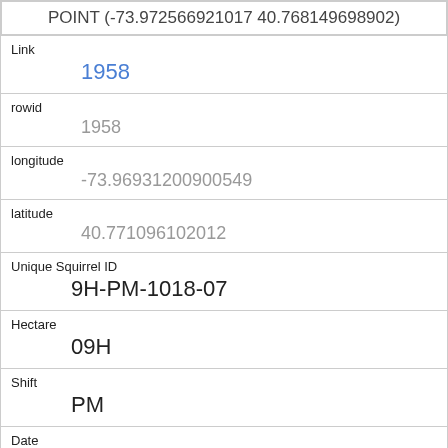| POINT (-73.972566921017 40.768149698902) |
| Link | 1958 |
| rowid | 1958 |
| longitude | -73.96931200900549 |
| latitude | 40.771096102012 |
| Unique Squirrel ID | 9H-PM-1018-07 |
| Hectare | 09H |
| Shift | PM |
| Date | 10182018 |
| Hectare Squirrel Number | 7 |
| Age |  |